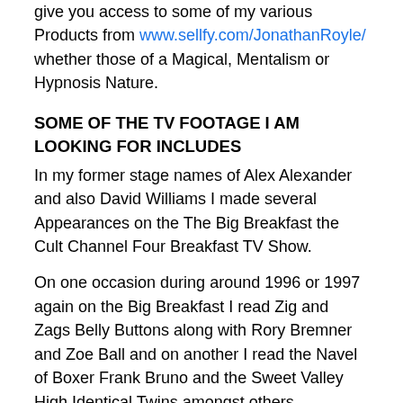give you access to some of my various Products from www.sellfy.com/JonathanRoyle/ whether those of a Magical, Mentalism or Hypnosis Nature.
SOME OF THE TV FOOTAGE I AM LOOKING FOR INCLUDES
In my former stage names of Alex Alexander and also David Williams I made several Appearances on the The Big Breakfast the Cult Channel Four Breakfast TV Show.
On one occasion during around 1996 or 1997 again on the Big Breakfast I read Zig and Zags Belly Buttons along with Rory Bremner and Zoe Ball and on another I read the Navel of Boxer Frank Bruno and the Sweet Valley High Identical Twins amongst others.
Another time in 1996 or 1997 on the Big Breakfast, hosted by Keith Chegwin I demonstrated “Pawology” Dogs Paw